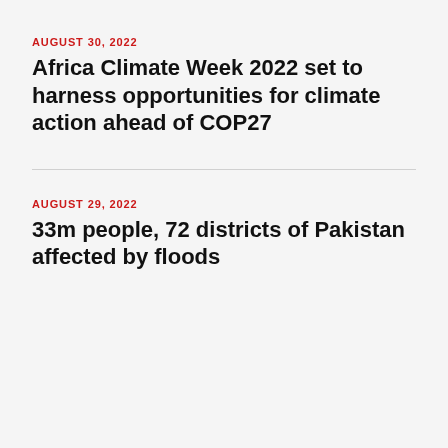AUGUST 30, 2022
Africa Climate Week 2022 set to harness opportunities for climate action ahead of COP27
AUGUST 29, 2022
33m people, 72 districts of Pakistan affected by floods